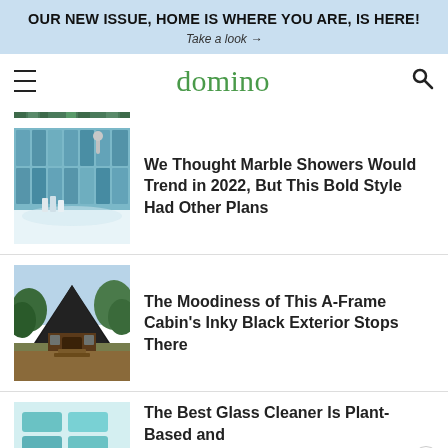OUR NEW ISSUE, HOME IS WHERE YOU ARE, IS HERE!
Take a look →
domino
[Figure (screenshot): Partial top of a previous article thumbnail (teal/green tones)]
[Figure (photo): Bathroom with teal vertical subway tile shower wall, chrome shower fixtures, and white bathtub]
We Thought Marble Showers Would Trend in 2022, But This Bold Style Had Other Plans
[Figure (photo): A-frame cabin with dark/black exterior roof surrounded by green trees]
The Moodiness of This A-Frame Cabin's Inky Black Exterior Stops There
[Figure (photo): Glass cleaner product with teal/green packaging]
The Best Glass Cleaner Is Plant-Based and